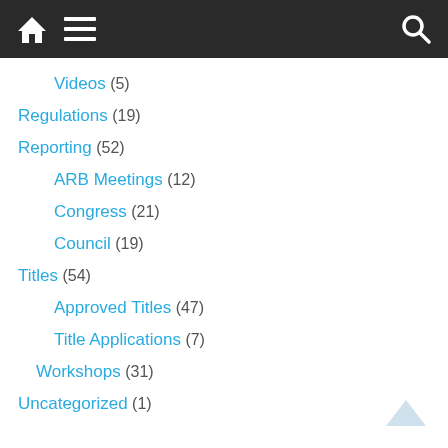Navigation bar with home, menu, and search icons
Videos (5)
Regulations (19)
Reporting (52)
ARB Meetings (12)
Congress (21)
Council (19)
Titles (54)
Approved Titles (47)
Title Applications (7)
Workshops (31)
Uncategorized (1)